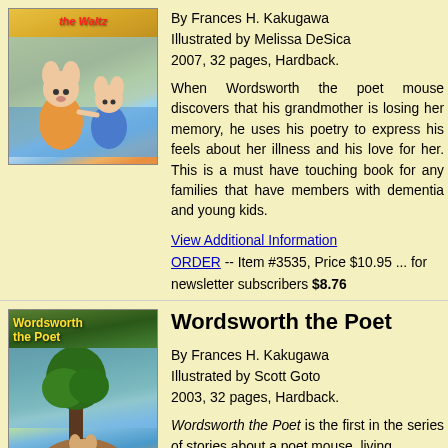[Figure (illustration): Book cover illustration showing cartoon mice dancing, titled 'the Waltz']
By Frances H. Kakugawa
Illustrated by Melissa DeSica
2007, 32 pages, Hardback.
When Wordsworth the poet mouse discovers that his grandmother is losing her memory, he uses his poetry to express his feels about her illness and his love for her. This is a must have touching book for any families that have members with dementia and young kids.
View Additional Information
ORDER -- Item #3535, Price $10.95 ... for newsletter subscribers $8.76
[Figure (illustration): Book cover for 'Wordsworth the Poet' showing a mouse reading under a tree]
Wordsworth the Poet
By Frances H. Kakugawa
Illustrated by Scott Goto
2003, 32 pages, Hardback.
Wordsworth the Poet is the first in the series of stories about a poet mouse, living